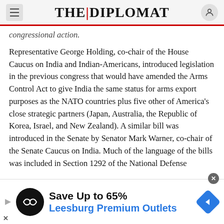THE | DIPLOMAT
congressional action.
Representative George Holding, co-chair of the House Caucus on India and Indian-Americans, introduced legislation in the previous congress that would have amended the Arms Control Act to give India the same status for arms export purposes as the NATO countries plus five other of America's close strategic partners (Japan, Australia, the Republic of Korea, Israel, and New Zealand). A similar bill was introduced in the Senate by Senator Mark Warner, co-chair of the Senate Caucus on India. Much of the language of the bills was included in Section 1292 of the National Defense
[Figure (screenshot): Advertisement banner: Save Up to 65% Leesburg Premium Outlets with logo and navigation icon]